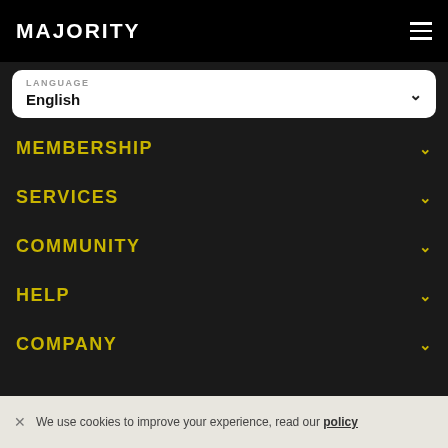MAJORITY
LANGUAGE
English
MEMBERSHIP
SERVICES
COMMUNITY
HELP
COMPANY
We use cookies to improve your experience, read our policy